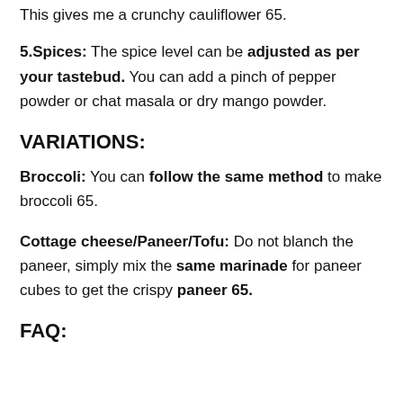This gives me a crunchy cauliflower 65.
5.Spices: The spice level can be adjusted as per your tastebud. You can add a pinch of pepper powder or chat masala or dry mango powder.
VARIATIONS:
Broccoli: You can follow the same method to make broccoli 65.
Cottage cheese/Paneer/Tofu: Do not blanch the paneer, simply mix the same marinade for paneer cubes to get the crispy paneer 65.
FAQ: